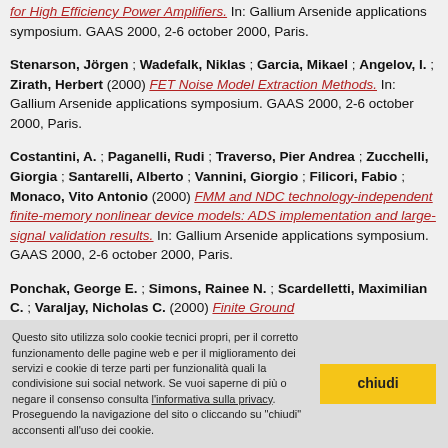[partial top] ...for High Efficiency Power Amplifiers. In: Gallium Arsenide applications symposium. GAAS 2000, 2-6 october 2000, Paris.
Stenarson, Jörgen ; Wadefalk, Niklas ; Garcia, Mikael ; Angelov, I. ; Zirath, Herbert (2000) FET Noise Model Extraction Methods. In: Gallium Arsenide applications symposium. GAAS 2000, 2-6 october 2000, Paris.
Costantini, A. ; Paganelli, Rudi ; Traverso, Pier Andrea ; Zucchelli, Giorgia ; Santarelli, Alberto ; Vannini, Giorgio ; Filicori, Fabio ; Monaco, Vito Antonio (2000) FMM and NDC technology-independent finite-memory nonlinear device models: ADS implementation and large-signal validation results. In: Gallium Arsenide applications symposium. GAAS 2000, 2-6 october 2000, Paris.
Ponchak, George E. ; Simons, Rainee N. ; Scardelletti, Maximilian C. ; Varaljay, Nicholas C. (2000) Finite Ground...
Questo sito utilizza solo cookie tecnici propri, per il corretto funzionamento delle pagine web e per il miglioramento dei servizi e cookie di terze parti per funzionalità quali la condivisione sui social network. Se vuoi saperne di più o negare il consenso consulta l'informativa sulla privacy. Proseguendo la navigazione del sito o cliccando su "chiudi" acconsenti all'uso dei cookie.